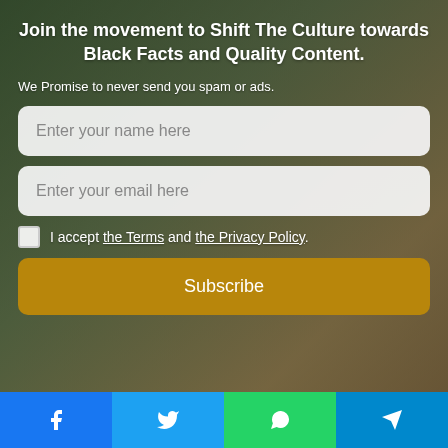Join the movement to Shift The Culture towards Black Facts and Quality Content.
We Promise to never send you spam or ads.
Enter your name here
Enter your email here
I accept the Terms and the Privacy Policy.
Subscribe
August 17, 2021
⚡ by Convertful
Thomas (Tom) Lee ... · Aug 17, 2021
@fundstrat · Follow
Focus on the right fractal...
Facebook | Twitter | WhatsApp | Telegram